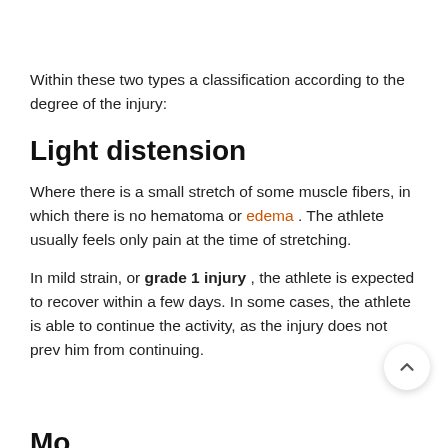Within these two types a classification according to the degree of the injury:
Light distension
Where there is a small stretch of some muscle fibers, in which there is no hematoma or edema . The athlete usually feels only pain at the time of stretching.
In mild strain, or grade 1 injury , the athlete is expected to recover within a few days. In some cases, the athlete is able to continue the activity, as the injury does not prev him from continuing.